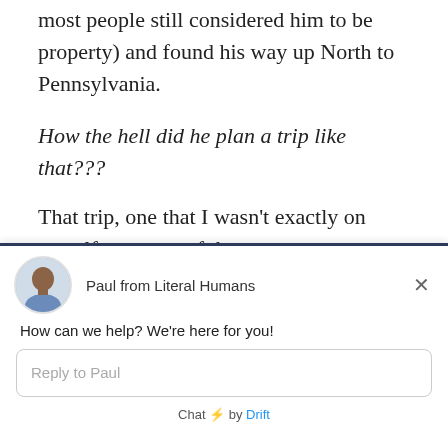most people still considered him to be property) and found his way up North to Pennsylvania.
How the hell did he plan a trip like that???
That trip, one that I wasn't exactly on myself, was one of the most consequential trips of my life.
[Figure (screenshot): Drift chat widget with avatar of Paul from Literal Humans, message 'How can we help? We're here for you!', reply input box, and 'Chat by Drift' footer.]